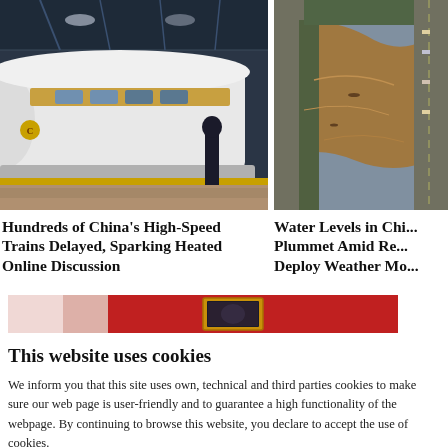[Figure (photo): A sleek white high-speed train at a station platform at night, with a person standing in dark clothing on the platform.]
[Figure (photo): Aerial view of flooded river with muddy brown water, roads visible along the banks.]
Hundreds of China's High-Speed Trains Delayed, Sparking Heated Online Discussion
Water Levels in Chi... Plummet Amid Re... Deploy Weather Mo...
[Figure (photo): Cookie banner decorative image strip with pinkish, red, and gold frame elements.]
This website uses cookies
We inform you that this site uses own, technical and third parties cookies to make sure our web page is user-friendly and to guarantee a high functionality of the webpage. By continuing to browse this website, you declare to accept the use of cookies.
OK